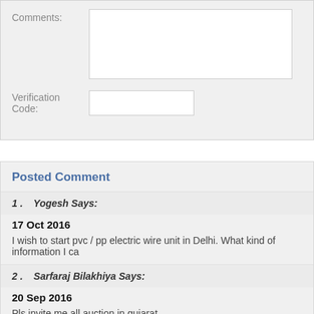Comments:
Verification Code:
Posted Comment
1 .   Yogesh Says:
17 Oct 2016
I wish to start pvc / pp electric wire unit in Delhi. What kind of information I ca...
2 .   Sarfaraj Bilakhiya Says:
20 Sep 2016
Pls invite me all auction in gujarat